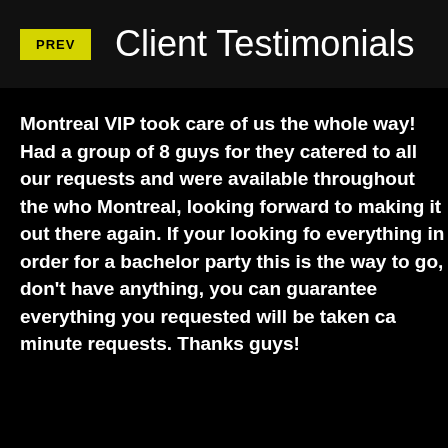Client Testimonials
Montreal VIP took care of us the whole way! Had a group of 8 guys for they catered to all our requests and were available throughout the who Montreal, looking forward to making it out there again. If your looking fo everything in order for a bachelor party this is the way to go, don't have anything, you can guarantee everything you requested will be taken ca minute requests. Thanks guys!